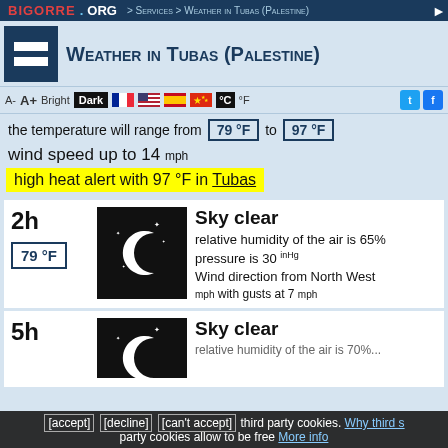BIGORRE.ORG > Services > Weather in Tubas (Palestine)
Weather in Tubas (Palestine)
the temperature will range from 79 °F to 97 °F
wind speed up to 14 mph
high heat alert with 97 °F in Tubas
2h | 79 °F | Sky clear | relative humidity of the air is 65% | pressure is 30 inHg | Wind direction from North West mph with gusts at 7 mph
5h | Sky clear | relative humidity of the air is 70%